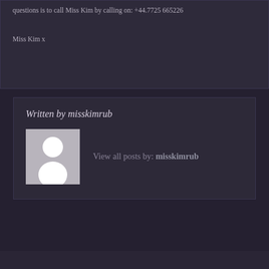questions is to call Miss Kim by calling on: +44.7725 665226
Miss Kim x
Written by misskimrub
[Figure (illustration): Default avatar placeholder image showing a silhouette of a person (white circle head and body shape) on a grey background.]
View all posts by: misskimrub